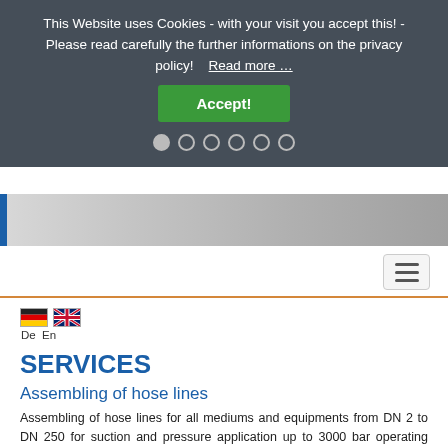This Website uses Cookies - with your visit you accept this! - Please read carefully the further informations on the privacy policy!   Read more …
Accept!
[Figure (screenshot): Faded machinery/industrial background image with blue left border and navigation carousel dots]
[Figure (other): Hamburger menu icon button in top-right of nav bar]
[Figure (other): German flag icon (De)]
[Figure (other): UK flag icon (En)]
SERVICES
Assembling of hose lines
Assembling of hose lines for all mediums and equipments from DN 2 to DN 250 for suction and pressure application up to 3000 bar operating pressure by our experienced, internal trained staff members.
Testing of hose lines
Pressure impulse testing according to EN ISO 6802, EN …